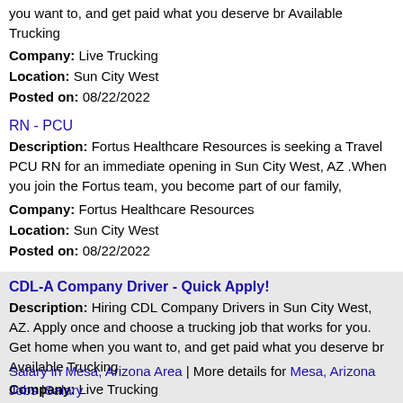you want to, and get paid what you deserve br Available Trucking
Company: Live Trucking
Location: Sun City West
Posted on: 08/22/2022
RN - PCU
Description: Fortus Healthcare Resources is seeking a Travel PCU RN for an immediate opening in Sun City West, AZ .When you join the Fortus team, you become part of our family,
Company: Fortus Healthcare Resources
Location: Sun City West
Posted on: 08/22/2022
CDL-A Company Driver - Quick Apply!
Description: Hiring CDL Company Drivers in Sun City West, AZ. Apply once and choose a trucking job that works for you. Get home when you want to, and get paid what you deserve br Available Trucking
Company: Live Trucking
Location: Sun City West
Posted on: 08/22/2022
Salary in Mesa, Arizona Area | More details for Mesa, Arizona Jobs |Salary